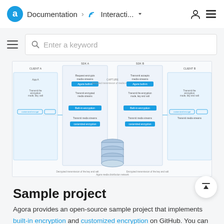Documentation > Interacti... (dropdown) [user icon] [menu icon]
[Figure (screenshot): Search bar with hamburger menu and keyword input field]
[Figure (engineering-diagram): Architecture diagram showing encrypted media transmission between clients through Agora SD-RTN with built-in and customized encryption flows]
Sample project
Agora provides an open-source sample project that implements built-in encryption and customized encryption on GitHub. You can try the demo and view the source code.